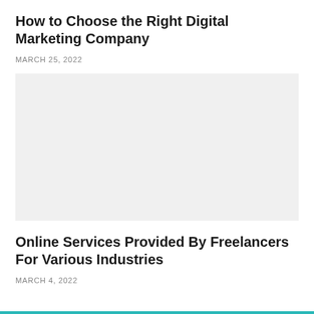How to Choose the Right Digital Marketing Company
MARCH 25, 2022
[Figure (photo): Large image placeholder for the article about choosing the right digital marketing company]
Online Services Provided By Freelancers For Various Industries
MARCH 4, 2022